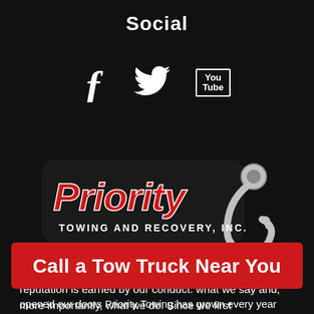Social
[Figure (illustration): Social media icons: Facebook (f), Twitter bird, YouTube logo]
[Figure (logo): Priority Towing and Recovery, Inc. logo with red italic text and a silver tow hook]
Founded in 2014 Priority Towing and Recovery's reputation is earned by our conduct: what we say and, more importantly, what we do. Since we first opened our doors Priority Towing has grown every year
Call a Tow Truck Near You
opened our doors Priority Towing has grown every year